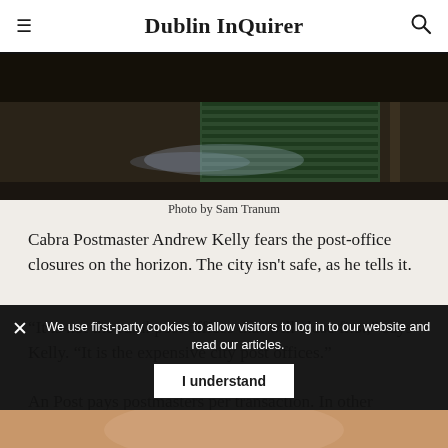Dublin InQuirer
[Figure (photo): Night-time blurred street scene with shuttered storefronts]
Photo by Sam Tranum
Cabra Postmaster Andrew Kelly fears the post-office closures on the horizon. The city isn't safe, as he tells it.
“It is not the rural post offices that will close first,” says Kelly. “It is the expensive city post offices.”
An Post pays postmasters per transaction. In other words, each time somebody buys something, or collects money, or pays a bill. Transactions are falling, and so are those